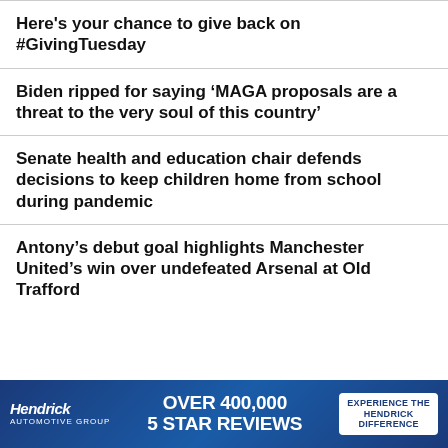Here's your chance to give back on #GivingTuesday
Biden ripped for saying ‘MAGA proposals are a threat to the very soul of this country’
Senate health and education chair defends decisions to keep children home from school during pandemic
Antony’s debut goal highlights Manchester United’s win over undefeated Arsenal at Old Trafford
[Figure (infographic): Hendrick automotive advertisement banner: 'OVER 400,000 5 STAR REVIEWS' with 'EXPERIENCE THE HENDRICK DIFFERENCE' call to action on white button, blue background]